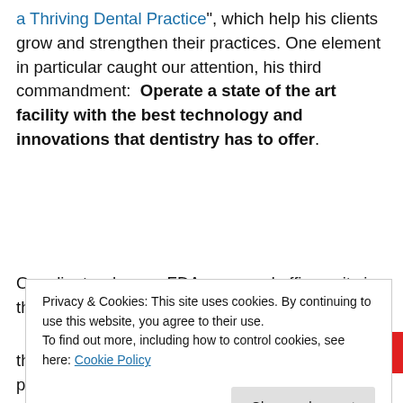a Thriving Dental Practice", which help his clients grow and strengthen their practices. One element in particular caught our attention, his third commandment:  Operate a state of the art facility with the best technology and innovations that dentistry has to offer.
[Figure (other): Pocket Casts advertisement banner: red background with text 'An app by listeners,' and 'Dis-trib-uted' graphic and Pocket Casts logo]
their environmental impact as well as their patient's
Privacy & Cookies: This site uses cookies. By continuing to use this website, you agree to their use.
To find out more, including how to control cookies, see here: Cookie Policy